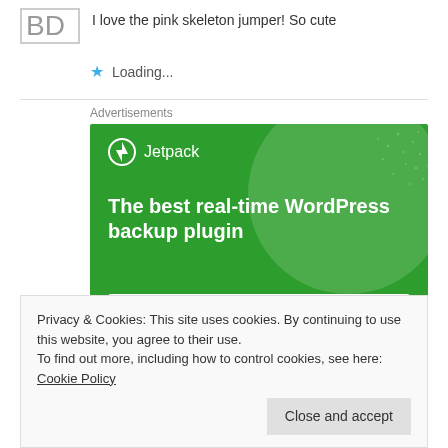BD   I love the pink skeleton jumper! So cute
★ Loading...
Advertisements
[Figure (screenshot): Jetpack WordPress backup plugin advertisement banner with green background, white Jetpack logo and lightning bolt icon, bold white text reading 'The best real-time WordPress backup plugin', and a white button partially visible at the bottom reading 'Back up your site']
Privacy & Cookies: This site uses cookies. By continuing to use this website, you agree to their use.
To find out more, including how to control cookies, see here: Cookie Policy
Close and accept